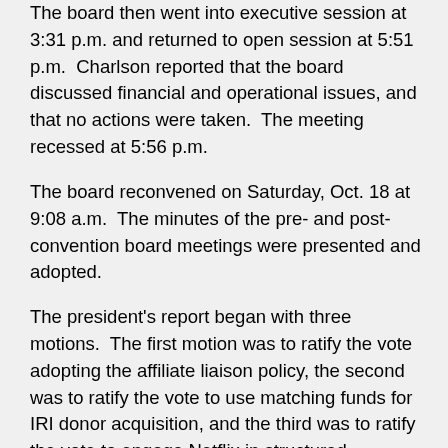The board then went into executive session at 3:31 p.m. and returned to open session at 5:51 p.m.  Charlson reported that the board discussed financial and operational issues, and that no actions were taken.  The meeting recessed at 5:56 p.m.
The board reconvened on Saturday, Oct. 18 at 9:08 a.m.  The minutes of the pre- and post-convention board meetings were presented and adopted.
The president's report began with three motions.  The first motion was to ratify the vote adopting the affiliate liaison policy, the second was to ratify the vote to use matching funds for IRI donor acquisition, and the third was to ratify the vote to engage Netflix in structured negotiations.
Charlson indicated that ACB has been approached by the Consortium of Citizens with Disabilities (CCD) for a contribution to a tribute fund which will be used to honor retiring Sen. Tom Harkin with a contribution to the Tom